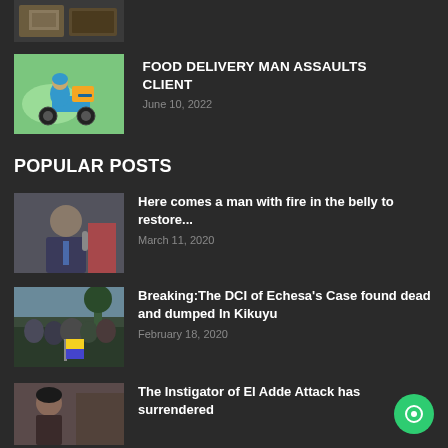[Figure (photo): Cropped photo of money/currency at top of page]
[Figure (illustration): Green background illustration of a person riding a blue scooter with a yellow delivery box]
FOOD DELIVERY MAN ASSAULTS CLIENT
June 10, 2022
POPULAR POSTS
[Figure (photo): Photo of a man in a suit being interviewed]
Here comes a man with fire in the belly to restore...
March 11, 2020
[Figure (photo): Photo of a crowd of people outdoors]
Breaking:The DCI of Echesa's Case found dead and dumped In Kikuyu
February 18, 2020
[Figure (photo): Photo of a person at the bottom of page]
The Instigator of El Adde Attack has surrendered